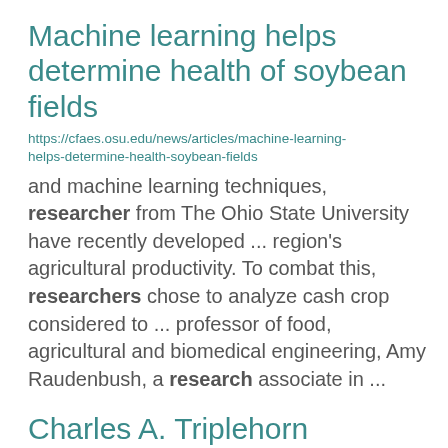Machine learning helps determine health of soybean fields
https://cfaes.osu.edu/news/articles/machine-learning-helps-determine-health-soybean-fields
and machine learning techniques, researchers from The Ohio State University have recently developed ... region's agricultural productivity. To combat this, researchers chose to analyze cash crop considered to ... professor of food, agricultural and biomedical engineering, Amy Raudenbush, a research associate in ...
Charles A. Triplehorn
https://entomology.osu.edu/our-people/charles-triplehorn